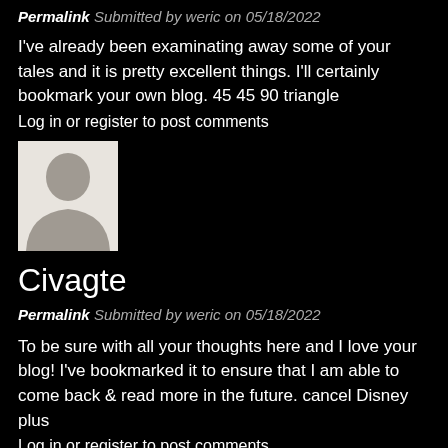Permalink Submitted by weric on 05/18/2022
I've already been examinating away some of your tales and it is pretty excellent things. I'll certainly bookmark your own blog. 45 45 90 triangle
Log in or register to post comments
[Figure (photo): Default user avatar silhouette on light background]
Civagte
Permalink Submitted by weric on 05/18/2022
To be sure with all your thoughts here and I love your blog! I've bookmarked it to ensure that I am able to come back & read more in the future. cancel Disney plus
Log in or register to post comments